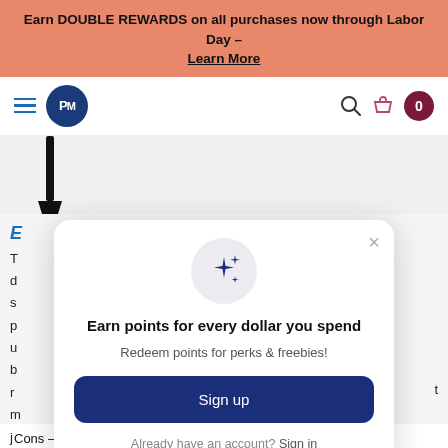Earn DOUBLE REWARDS on all purchases now through Labor Day – Learn More
[Figure (screenshot): Navigation bar with hamburger menu, PM logo circle, search icon, cart icon, and 0 badge]
[Figure (photo): Partial product image on grey background showing black object]
E
T d s p u b r m j
[Figure (infographic): Modal popup: sparkle icon, 'Earn points for every dollar you spend', 'Redeem points for perks & freebies!', Sign up button, Already have an account? Sign in]
P t
Cons – should be used in a controlled environment - room